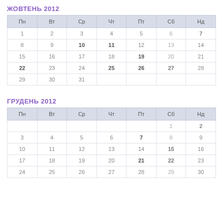ЖОВТЕНЬ 2012
| Пн | Вт | Ср | Чт | Пт | Сб | Нд |
| --- | --- | --- | --- | --- | --- | --- |
| 1 | 2 | 3 | 4 | 5 | 6 | 7 |
| 8 | 9 | 10 | 11 | 12 | 13 | 14 |
| 15 | 16 | 17 | 18 | 19 | 20 | 21 |
| 22 | 23 | 24 | 25 | 26 | 27 | 28 |
| 29 | 30 | 31 |  |  |  |  |
ГРУДЕНЬ 2012
| Пн | Вт | Ср | Чт | Пт | Сб | Нд |
| --- | --- | --- | --- | --- | --- | --- |
|  |  |  |  |  | 1 | 2 |
| 3 | 4 | 5 | 6 | 7 | 8 | 9 |
| 10 | 11 | 12 | 13 | 14 | 15 | 16 |
| 17 | 18 | 19 | 20 | 21 | 22 | 23 |
| 24 | 25 | 26 | 27 | 28 | 29 | 30 |